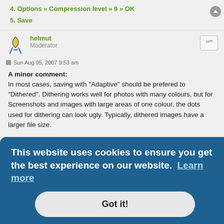4. Options » Compression level » 9 » OK
5. Save
helmut
Moderator
Sun Aug 05, 2007 9:53 am
A minor comment:
In most cases, saving with "Adaptive" should be prefered to "Dithered". Dithering works well for photos with many colours, but for Screenshots and images with large areas of one colour, the dots used for dithering can look ugly. Typically, dithered images have a larger file size.
On Wikipedia one can well see How dithering works.
This website uses cookies to ensure you get the best experience on our website. Learn more
Got it!
Moderator & Librarian
Sun Aug 05, 2007 12:30 pm